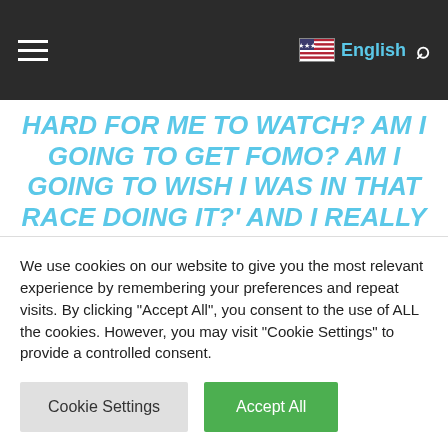English
HARD FOR ME TO WATCH? AM I GOING TO GET FOMO? AM I GOING TO WISH I WAS IN THAT RACE DOING IT?' AND I REALLY NEVER THOUGHT ABOUT IT ONCE. I WAS JUST CHEERING FOR RHYAN AND CHEERING FOR PHOEBE. AND IT
We use cookies on our website to give you the most relevant experience by remembering your preferences and repeat visits. By clicking "Accept All", you consent to the use of ALL the cookies. However, you may visit "Cookie Settings" to provide a controlled consent.